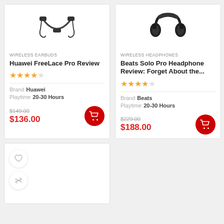[Figure (illustration): Huawei FreeLace Pro wireless earbuds neckband style, black]
WIRELESS EARBUDS
Huawei FreeLace Pro Review
★★★★☆ (4 stars out of 5)
Brand Huawei
Playtime 20-30 Hours
$149.00 $136.00
[Figure (illustration): Beats Solo Pro wireless over-ear headphones, black]
WIRELESS HEADPHONES
Beats Solo Pro Headphone Review: Forget About the...
★★★★☆ (4 stars out of 5)
Brand Beats
Playtime 20-30 Hours
$229.00 $188.00
[Figure (other): Product card with heart/wishlist and compare icons]